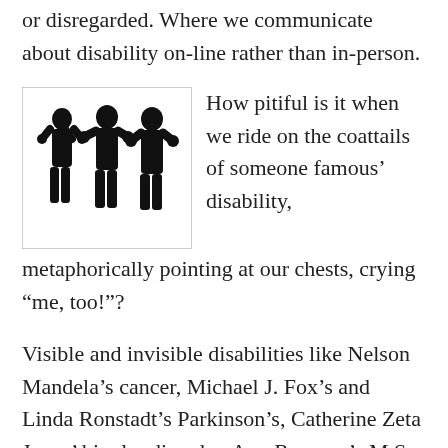or disregarded. Where we communicate about disability on-line rather than in-person.
[Figure (illustration): Silhouette of three figures standing with hands raised to their heads]
How pitiful is it when we ride on the coattails of someone famous' disability, metaphorically pointing at our chests, crying “me, too!”?
Visible and invisible disabilities like Nelson Mandela’s cancer, Michael J. Fox’s and Linda Ronstadt’s Parkinson’s, Catherine Zeta Jones’ bipolar disorder, Ann Romney’s M.S.,